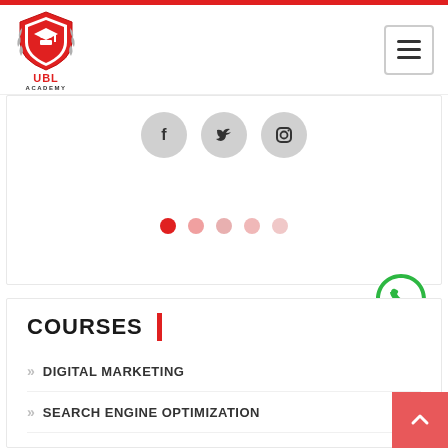[Figure (logo): UBL Academy logo - shield with graduation cap in red, with 'UBL ACADEMY' text below]
[Figure (infographic): Social media icons (Facebook, Twitter, Instagram) in gray circles with carousel dot navigation below (5 dots, first active in red)]
[Figure (illustration): WhatsApp green phone icon button]
COURSES
DIGITAL MARKETING
SEARCH ENGINE OPTIMIZATION
SOCIAL MEDIA MARKETING